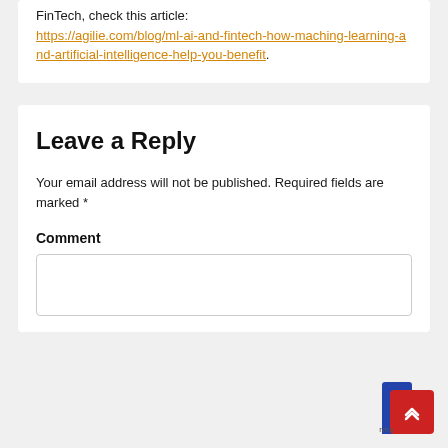FinTech, check this article: https://agilie.com/blog/ml-ai-and-fintech-how-maching-learning-and-artificial-intelligence-help-you-benefit.
Leave a Reply
Your email address will not be published. Required fields are marked *
Comment